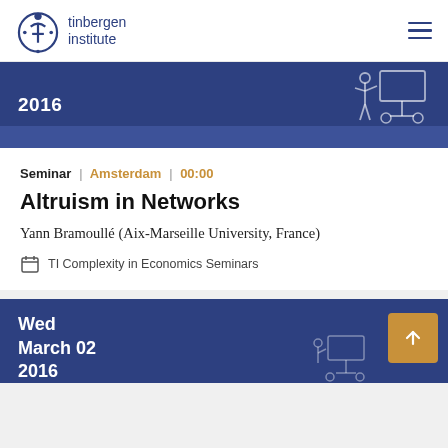tinbergen institute
[Figure (other): Blue banner with year 2016 and outline illustration of a lecturer at a board]
Seminar | Amsterdam | 00:00
Altruism in Networks
Yann Bramoullé (Aix-Marseille University, France)
TI Complexity in Economics Seminars
[Figure (other): Blue banner with date Wed March 02 2016, a gold arrow-up button, and outline illustration of a lecturer]